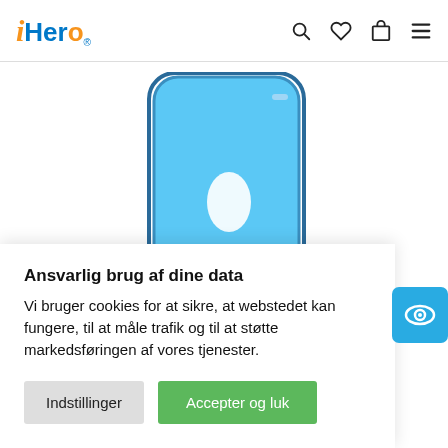iHero — navigation header with search, wishlist, cart, and menu icons
[Figure (photo): Partial view of a blue smartphone back cover with a fingerprint sensor cutout, shown against a white background]
Ansvarlig brug af dine data
Vi bruger cookies for at sikre, at webstedet kan fungere, til at måle trafik og til at støtte markedsføringen af vores tjenester.
Indstillinger
Accepter og luk